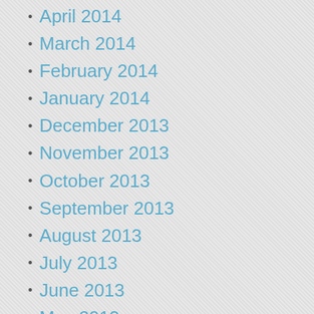April 2014
March 2014
February 2014
January 2014
December 2013
November 2013
October 2013
September 2013
August 2013
July 2013
June 2013
May 2013
April 2013
March 2013
February 2013
January 2013
December 2012
November 2012
October 2012
September 2012